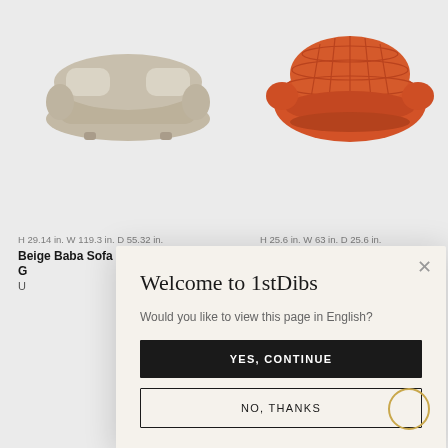[Figure (illustration): Beige curved Baba sofa product image on white background, left side]
[Figure (illustration): Orange vintage pop art foam sofa product image on white background, right side]
H 29.14 in. W 119.3 in. D 55.32 in.
Beige Baba Sofa by G
U
H 25.6 in. W 63 in. D 25.6 in.
Vintage Pop Art Foam
Welcome to 1stDibs
Would you like to view this page in English?
YES, CONTINUE
NO, THANKS